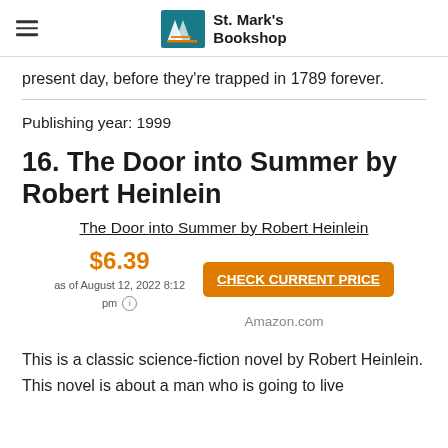St. Mark's Bookshop
present day, before they're trapped in 1789 forever.
Publishing year: 1999
16. The Door into Summer by Robert Heinlein
The Door into Summer by Robert Heinlein
$6.39 as of August 12, 2022 8:12 pm
CHECK CURRENT PRICE
Amazon.com
This is a classic science-fiction novel by Robert Heinlein. This novel is about a man who is going to live